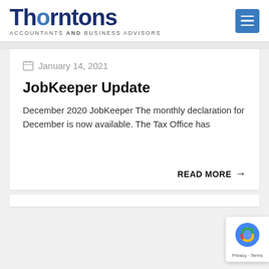Thorntons ACCOUNTANTS AND BUSINESS ADVISORS
January 14, 2021
JobKeeper Update
December 2020 JobKeeper The monthly declaration for December is now available.  The Tax Office has
READ MORE →